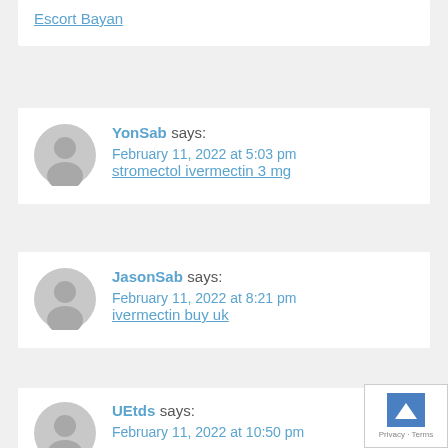Escort Bayan
YonSab says:
February 11, 2022 at 5:03 pm
stromectol ivermectin 3 mg
JasonSab says:
February 11, 2022 at 8:21 pm
ivermectin buy uk
UEtds says:
February 11, 2022 at 10:50 pm
U-Etds U-Etds U-Etds U-Etds U-Etds